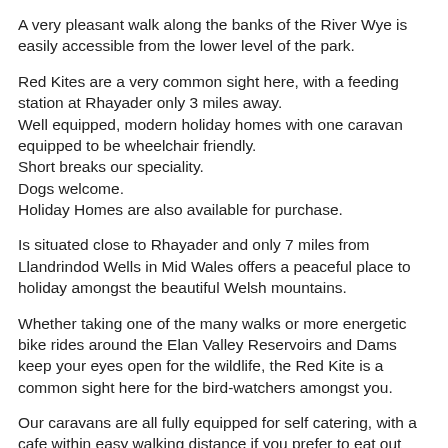A very pleasant walk along the banks of the River Wye is easily accessible from the lower level of the park.
Red Kites are a very common sight here, with a feeding station at Rhayader only 3 miles away.
Well equipped, modern holiday homes with one caravan equipped to be wheelchair friendly.
Short breaks our speciality.
Dogs welcome.
Holiday Homes are also available for purchase.
Is situated close to Rhayader and only 7 miles from Llandrindod Wells in Mid Wales offers a peaceful place to holiday amongst the beautiful Welsh mountains.
Whether taking one of the many walks or more energetic bike rides around the Elan Valley Reservoirs and Dams keep your eyes open for the wildlife, the Red Kite is a common sight here for the bird-watchers amongst you.
Our caravans are all fully equipped for self catering, with a cafe within easy walking distance if you prefer to eat out during the day.